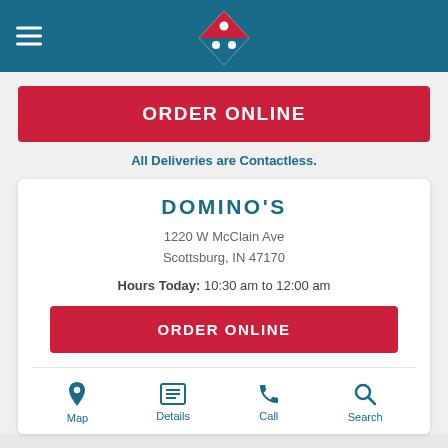[Figure (logo): Domino's Pizza logo — red diamond with white dots on blue header background]
ORDER ONLINE
All Deliveries are Contactless.
DOMINO'S
1220 W McClain Ave
Scottsburg, IN 47170
Hours Today: 10:30 am to 12:00 am
ORDER ONLINE
Map
Details
Call
Search